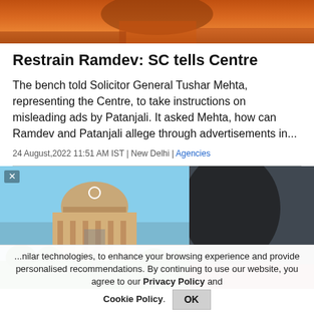[Figure (photo): Top portion of person wearing orange clothing, partial view of face and torso]
Restrain Ramdev: SC tells Centre
The bench told Solicitor General Tushar Mehta, representing the Centre, to take instructions on misleading ads by Patanjali. It asked Mehta, how can Ramdev and Patanjali allege through advertisements in...
24 August,2022 11:51 AM IST | New Delhi | Agencies
[Figure (photo): Two overlapping photos: Supreme Court building with dome on left, and close-up of a person's face on right. A close (X) button is visible in top-left corner.]
...nilar technologies, to enhance your browsing experience and provide personalised recommendations. By continuing to use our website, you agree to our Privacy Policy and Cookie Policy.